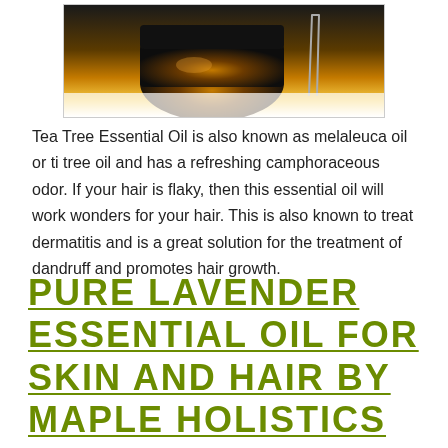[Figure (photo): Partial view of a dark amber essential oil bottle with tweezers/dropper on a white background]
Tea Tree Essential Oil is also known as melaleuca oil or ti tree oil and has a refreshing camphoraceous odor. If your hair is flaky, then this essential oil will work wonders for your hair. This is also known to treat dermatitis and is a great solution for the treatment of dandruff and promotes hair growth.
PURE LAVENDER ESSENTIAL OIL FOR SKIN AND HAIR BY MAPLE HOLISTICS